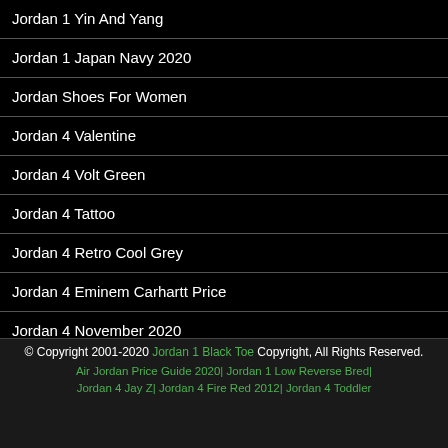Jordan 1 Yin And Yang
Jordan 1 Japan Navy 2020
Jordan Shoes For Women
Jordan 4 Valentine
Jordan 4 Volt Green
Jordan 4 Tattoo
Jordan 4 Retro Cool Grey
Jordan 4 Eminem Carhartt Price
Jordan 4 November 2020
Jordan 4 Zero
© Copyright 2001-2020 Jordan 1 Black Toe Copyright, All Rights Reserved. Air Jordan Price Guide 2020| Jordan 1 Low Reverse Bred| Jordan 4 Jay Z| Jordan 4 Fire Red 2012| Jordan 4 Toddler